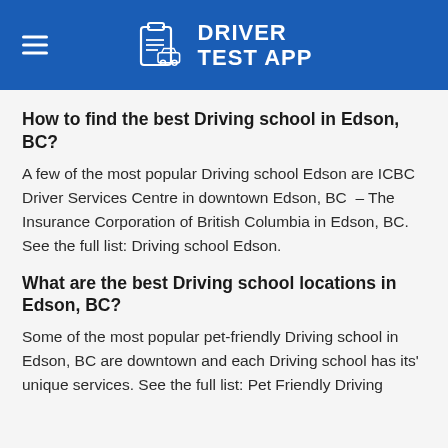DRIVER TEST APP
How to find the best Driving school in Edson, BC?
A few of the most popular Driving school Edson are ICBC Driver Services Centre in downtown Edson, BC – The Insurance Corporation of British Columbia in Edson, BC. See the full list: Driving school Edson.
What are the best Driving school locations in Edson, BC?
Some of the most popular pet-friendly Driving school in Edson, BC are downtown and each Driving school has its' unique services. See the full list: Pet Friendly Driving school in Edson.